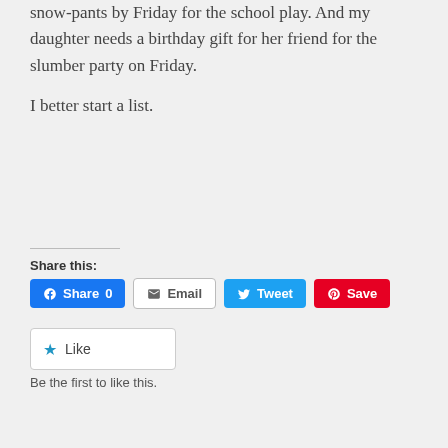snow-pants by Friday for the school play. And my daughter needs a birthday gift for her friend for the slumber party on Friday.
I better start a list.
Share this:
Share 0  Email  Tweet  Save
Like
Be the first to like this.